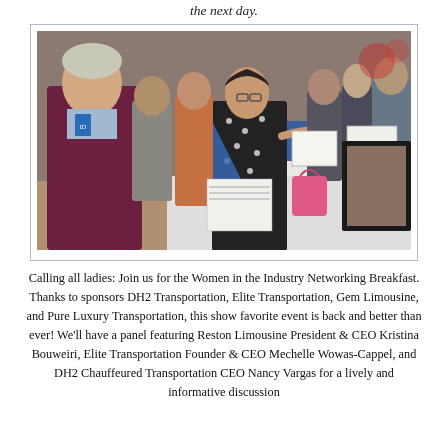the next day.
[Figure (photo): People browsing auction or vendor tables at an indoor event/conference. A woman in a polka-dot dress reaches toward items on a table draped in blue cloth, while a man in a maroon blazer watches. Other attendees visible in the background.]
Calling all ladies: Join us for the Women in the Industry Networking Breakfast. Thanks to sponsors DH2 Transportation, Elite Transportation, Gem Limousine, and Pure Luxury Transportation, this show favorite event is back and better than ever! We'll have a panel featuring Reston Limousine President & CEO Kristina Bouweiri, Elite Transportation Founder & CEO Mechelle Wowas-Cappel, and DH2 Chauffeured Transportation CEO Nancy Vargas for a lively and informative discussion